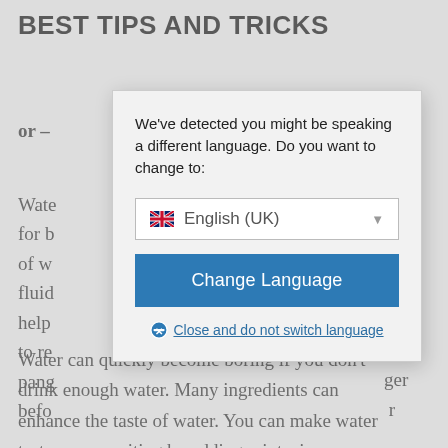BEST TIPS AND TRICKS
or –
Wate...ary
for b...ay
of w...of
fluid...l
help...elp
to re...ger
pang...r
befo...
[Figure (screenshot): Language switch dialog overlay with dropdown showing English (UK) with UK flag, a blue 'Change Language' button, and a 'Close and do not switch language' link with a close icon.]
Water can quickly become boring if you don't drink enough water. Many ingredients can enhance the taste of water. You can make water taste more exciting by adding mint, since...